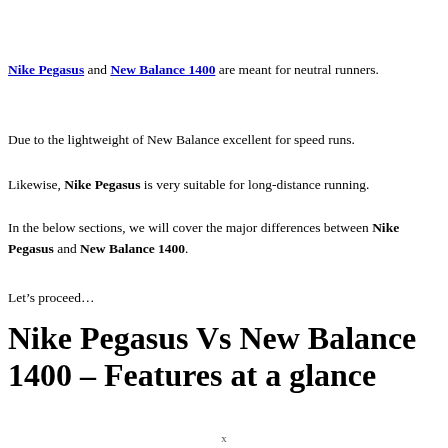Nike Pegasus and New Balance 1400 are meant for neutral runners.
Due to the lightweight of New Balance excellent for speed runs.
Likewise, Nike Pegasus is very suitable for long-distance running.
In the below sections, we will cover the major differences between Nike Pegasus and New Balance 1400.
Let’s proceed…
Nike Pegasus Vs New Balance 1400 – Features at a glance
x